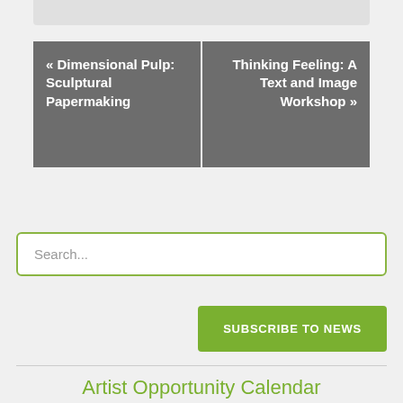« Dimensional Pulp: Sculptural Papermaking
Thinking Feeling: A Text and Image Workshop »
Search...
SUBSCRIBE TO NEWS
Artist Opportunity Calendar